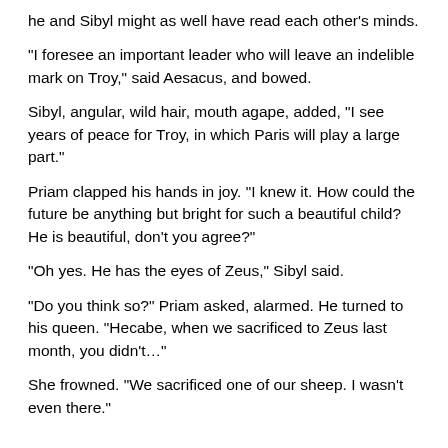he and Sibyl might as well have read each other's minds.
“I foresee an important leader who will leave an indelible mark on Troy,” said Aesacus, and bowed.
Sibyl, angular, wild hair, mouth agape, added, “I see years of peace for Troy, in which Paris will play a large part.”
Priam clapped his hands in joy. “I knew it. How could the future be anything but bright for such a beautiful child? He is beautiful, don’t you agree?”
“Oh yes. He has the eyes of Zeus,” Sibyl said.
“Do you think so?” Priam asked, alarmed. He turned to his queen. “Hecabe, when we sacrificed to Zeus last month, you didn’t…”
She frowned. “We sacrificed one of our sheep. I wasn’t even there.”